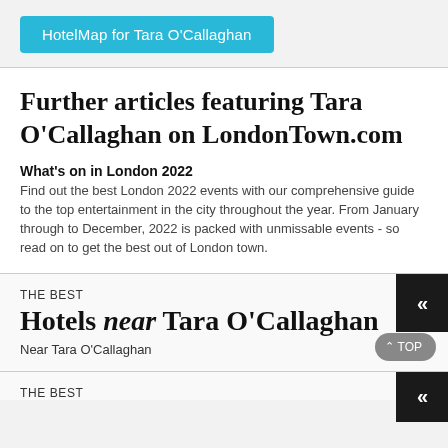[Figure (other): Cyan/teal button labeled 'HotelMap for Tara O'Callaghan']
Further articles featuring Tara O'Callaghan on LondonTown.com
What's on in London 2022
Find out the best London 2022 events with our comprehensive guide to the top entertainment in the city throughout the year. From January through to December, 2022 is packed with unmissable events - so read on to get the best out of London town.
THE BEST
Hotels near Tara O'Callaghan
Near Tara O'Callaghan
THE BEST